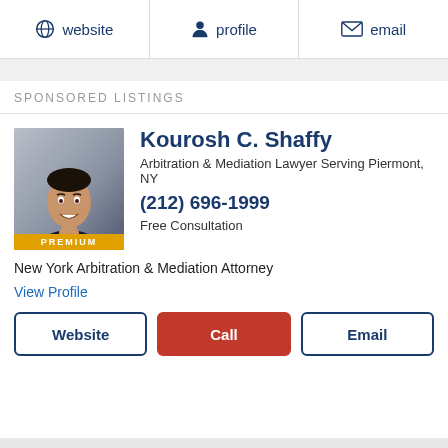website  profile  email
SPONSORED LISTINGS
[Figure (photo): Professional headshot of Kourosh C. Shaffy, a man in a dark suit and tie, smiling, with a PREMIUM badge at the bottom of the photo]
Kourosh C. Shaffy
Arbitration & Mediation Lawyer Serving Piermont, NY
(212) 696-1999
Free Consultation
New York Arbitration & Mediation Attorney
View Profile
Website  Call  Email